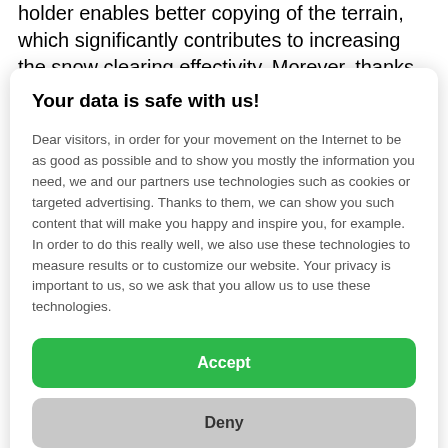holder enables better copying of the terrain, which significantly contributes to increasing the snow clearing effectivity. Morever, thanks to the new angled design of the blade is the snow outlet even better.
Your data is safe with us!
Dear visitors, in order for your movement on the Internet to be as good as possible and to show you mostly the information you need, we and our partners use technologies such as cookies or targeted advertising. Thanks to them, we can show you such content that will make you happy and inspire you, for example. In order to do this really well, we also use these technologies to measure results or to customize our website. Your privacy is important to us, so we ask that you allow us to use these technologies.
Accept
Deny
Set